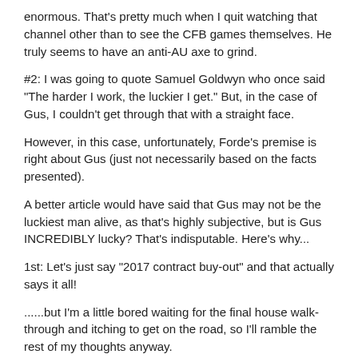enormous.  That's pretty much when I quit watching that channel other than to see the CFB games themselves.  He truly seems to have an anti-AU axe to grind.
#2: I was going to quote Samuel Goldwyn who once said "The harder I work, the luckier I get." But, in the case of Gus, I couldn't get through that with a straight face.
However, in this case, unfortunately, Forde's premise is right about Gus (just not necessarily based on the facts presented).
A better article would have said that Gus may not be the luckiest man alive, as that's highly subjective, but is Gus INCREDIBLY lucky?  That's indisputable.  Here's why...
1st: Let's just say "2017 contract buy-out" and that actually says it all!
......but I'm a little bored waiting for the final house walk-through and itching to get on the road, so I'll ramble the rest of my thoughts anyway.
2nd: $7-8M per year for very poorly coaching & developing talent...not to mention the glaring recruiting deficiencies &